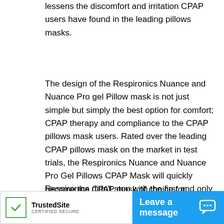lessens the discomfort and irritation CPAP users have found in the leading pillows masks.
The design of the Respironics Nuance and Nuance Pro gel Pillow mask is not just simple but simply the best option for comfort; CPAP therapy and compliance to the CPAP pillows mask users. Rated over the leading CPAP pillows mask on the market in test trials, the Respironics Nuance and Nuance Pro Gel Pillows CPAP Mask will quickly become the CPAP mask of choice for comfort. Not only is the Nuance and Nuance Pro Nasal Pillows CPAP cushion making waves but the headgear will too.
Respironics didn't stop with the first and only gel nasal pillows offered on the Nuance and Nuance Pro Nasal Pillows CPAP Mask bu... P users pre...
[Figure (logo): TrustedSite Certified Secure badge with green checkmark]
[Figure (infographic): Blue 'Leave a message' chat bar with chat bubble icon]